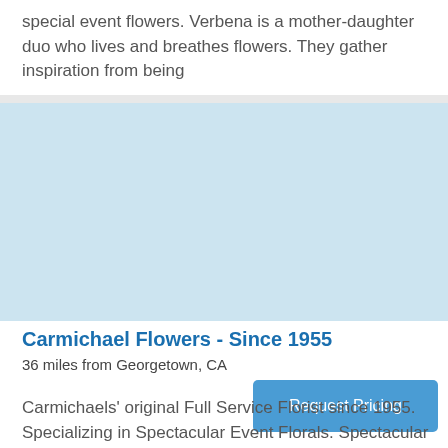special event flowers. Verbena is a mother-daughter duo who lives and breathes flowers. They gather inspiration from being
[Figure (other): Light blue placeholder image block]
Carmichael Flowers - Since 1955
36 miles from Georgetown, CA
Request Pricing
Carmichaels' original Full Service Florist since 1955. Specializing in Spectacular Event Florals. Spectacular Wedding & Reception Florals in the greater Sacramento and Carmichael areas. Expert